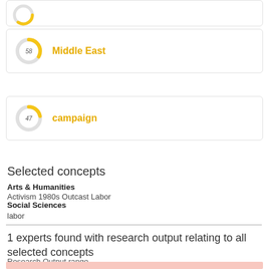[Figure (donut-chart): Middle East]
[Figure (donut-chart): campaign]
Selected concepts
Arts & Humanities
Activism 1980s Outcast Labor
Social Sciences
labor
1 experts found with research output relating to all selected concepts
Research Output range